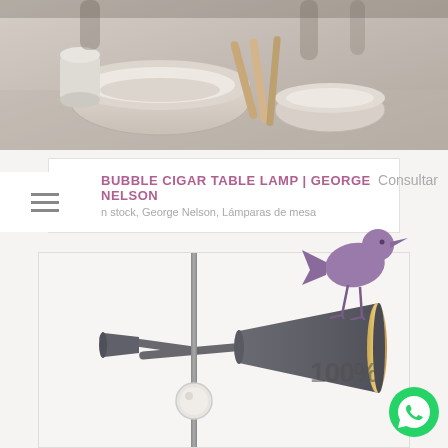[Figure (photo): Kitchen scene with bowls and utensils in muted beige/gray tones]
BUBBLE CIGAR TABLE LAMP | GEORGE NELSON
n stock, George Nelson, Lámparas de mesa
Consultar
[Figure (photo): Modern table lamp with dark gray conical shade and gold interior, on a thin pole with a circular joint, photographed on white background. A purple decorative bird figure overlaid. Text overlay reads 100%.]